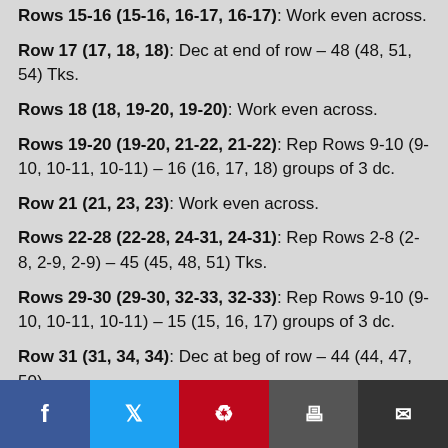Rows 15-16 (15-16, 16-17, 16-17): Work even across.
Row 17 (17, 18, 18): Dec at end of row – 48 (48, 51, 54) Tks.
Rows 18 (18, 19-20, 19-20): Work even across.
Rows 19-20 (19-20, 21-22, 21-22): Rep Rows 9-10 (9-10, 10-11, 10-11) – 16 (16, 17, 18) groups of 3 dc.
Row 21 (21, 23, 23): Work even across.
Rows 22-28 (22-28, 24-31, 24-31): Rep Rows 2-8 (2-8, 2-9, 2-9) – 45 (45, 48, 51) Tks.
Rows 29-30 (29-30, 32-33, 32-33): Rep Rows 9-10 (9-10, 10-11, 10-11) – 15 (15, 16, 17) groups of 3 dc.
Row 31 (31, 34, 34): Dec at beg of row – 44 (44, 47, 50)